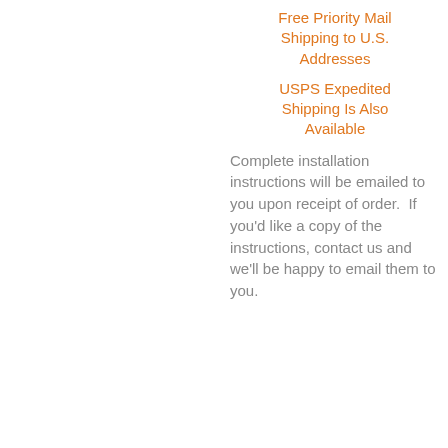Free Priority Mail Shipping to U.S. Addresses
USPS Expedited Shipping Is Also Available
Complete installation instructions will be emailed to you upon receipt of order.  If you'd like a copy of the instructions, contact us and we'll be happy to email them to you.